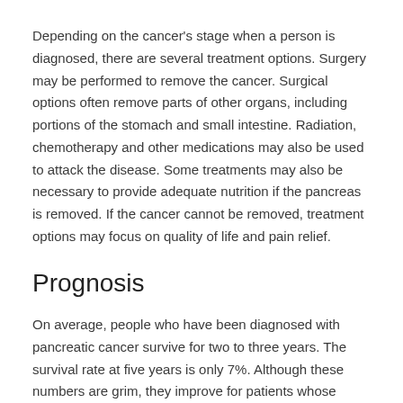Depending on the cancer's stage when a person is diagnosed, there are several treatment options. Surgery may be performed to remove the cancer. Surgical options often remove parts of other organs, including portions of the stomach and small intestine. Radiation, chemotherapy and other medications may also be used to attack the disease. Some treatments may also be necessary to provide adequate nutrition if the pancreas is removed. If the cancer cannot be removed, treatment options may focus on quality of life and pain relief.
Prognosis
On average, people who have been diagnosed with pancreatic cancer survive for two to three years. The survival rate at five years is only 7%. Although these numbers are grim, they improve for patients whose cancer is detected at early stages. If the cancer is caught before it spreads, doctors may be able to